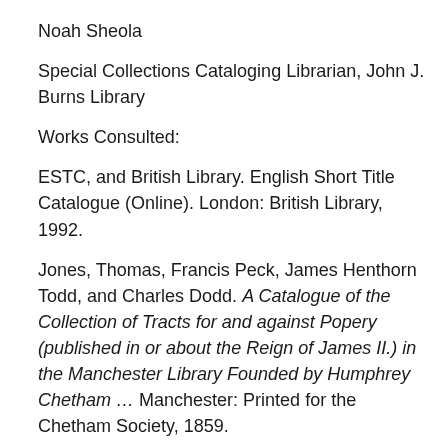Noah Sheola
Special Collections Cataloging Librarian, John J. Burns Library
Works Consulted:
ESTC, and British Library. English Short Title Catalogue (Online). London: British Library, 1992.
Jones, Thomas, Francis Peck, James Henthorn Todd, and Charles Dodd. A Catalogue of the Collection of Tracts for and against Popery (published in or about the Reign of James II.) in the Manchester Library Founded by Humphrey Chetham … Manchester: Printed for the Chetham Society, 1859.
Puttick and Simpson. Catalogue of the Fine, Extensive